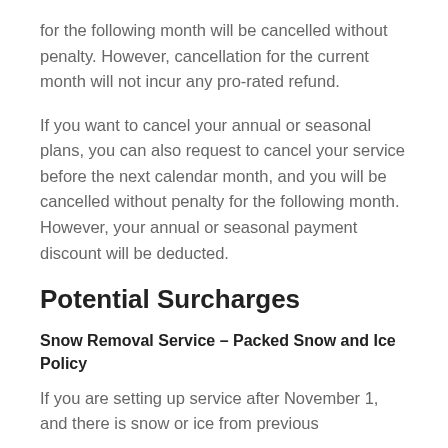for the following month will be cancelled without penalty. However, cancellation for the current month will not incur any pro-rated refund.
If you want to cancel your annual or seasonal plans, you can also request to cancel your service before the next calendar month, and you will be cancelled without penalty for the following month. However, your annual or seasonal payment discount will be deducted.
Potential Surcharges
Snow Removal Service – Packed Snow and Ice Policy
If you are setting up service after November 1, and there is snow or ice from previous...